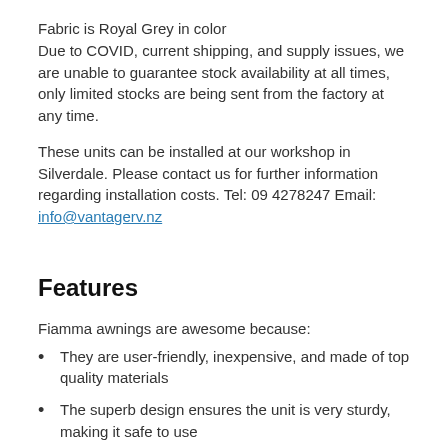Fabric is Royal Grey in color
Due to COVID, current shipping, and supply issues, we are unable to guarantee stock availability at all times, only limited stocks are being sent from the factory at any time.
These units can be installed at our workshop in Silverdale. Please contact us for further information regarding installation costs. Tel: 09 4278247 Email: info@vantagerv.nz
Features
Fiamma awnings are awesome because:
They are user-friendly, inexpensive, and made of top quality materials
The superb design ensures the unit is very sturdy, making it safe to use
These units are compact and practical, fitting into an extruded aluminium case